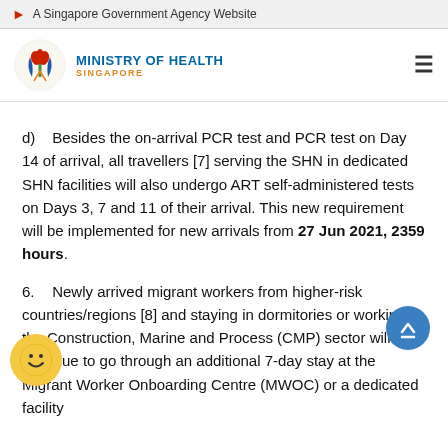A Singapore Government Agency Website
[Figure (logo): Ministry of Health Singapore logo with stylized tulip/flame emblem in blue, orange, and green, with text MINISTRY OF HEALTH SINGAPORE]
d)    Besides the on-arrival PCR test and PCR test on Day 14 of arrival, all travellers [7] serving the SHN in dedicated SHN facilities will also undergo ART self-administered tests on Days 3, 7 and 11 of their arrival. This new requirement will be implemented for new arrivals from 27 Jun 2021, 2359 hours.
6.    Newly arrived migrant workers from higher-risk countries/regions [8] and staying in dormitories or working in the Construction, Marine and Process (CMP) sector will continue to go through an additional 7-day stay at the Migrant Worker Onboarding Centre (MWOC) or a dedicated facility